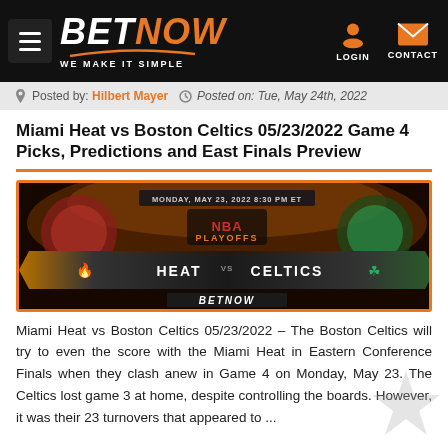BETNOW — WE MAKE IT SIMPLE
Posted by: Hilbert Mayer  Posted on: Tue, May 24th, 2022
Miami Heat vs Boston Celtics 05/23/2022 Game 4 Picks, Predictions and East Finals Preview
[Figure (photo): NBA Playoffs game matchup graphic: Heat vs Celtics, Monday May 23, 2022 8:30 PM ET, with BETNOW branding]
Miami Heat vs Boston Celtics 05/23/2022 – The Boston Celtics will try to even the score with the Miami Heat in Eastern Conference Finals when they clash anew in Game 4 on Monday, May 23. The Celtics lost game 3 at home, despite controlling the boards. However, it was their 23 turnovers that appeared to ...